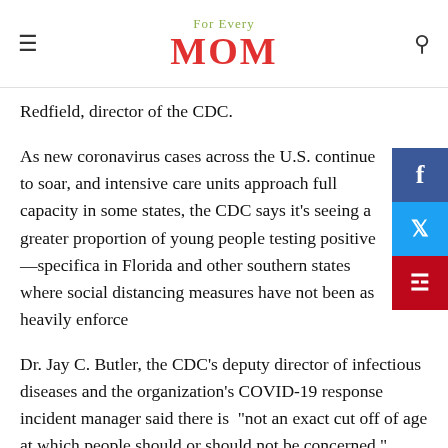For Every MOM
Redfield, director of the CDC.
As new coronavirus cases across the U.S. continue to soar, and intensive care units approach full capacity in some states, the CDC says it’s seeing a greater proportion of young people testing positive—specifically in Florida and other southern states where social distancing measures have not been as heavily enforced.
Dr. Jay C. Butler, the CDC’s deputy director of infectious diseases and the organization’s COVID-19 response incident manager said there is “not an exact cut off of age at which people should or should not be concerned.”